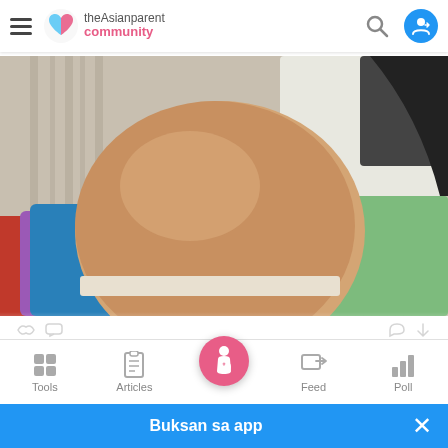theAsianparent community
[Figure (photo): Screenshot of theAsianparent community app showing a photo post of a pregnant woman's bare belly bump, with colorful clothing items visible in the background.]
Tools | Articles | [Community] | Feed | Poll
Buksan sa app